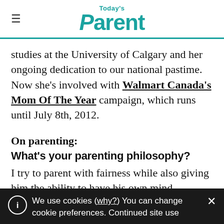Today's Parent
studies at the University of Calgary and her ongoing dedication to our national pastime. Now she's involved with Walmart Canada's Mom Of The Year campaign, which runs until July 8th, 2012.
On parenting:
What's your parenting philosophy?
I try to parent with fairness while also giving him the ability to have his own mind
We use cookies (why?) You can change cookie preferences. Continued site use